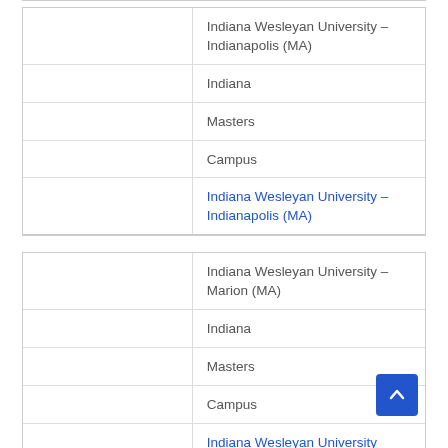|  | Indiana Wesleyan University – Indianapolis (MA) |
|  | Indiana |
|  | Masters |
|  | Campus |
|  | Indiana Wesleyan University – Indianapolis (MA) |
|  | Indiana Wesleyan University – Marion (MA) |
|  | Indiana |
|  | Masters |
|  | Campus |
|  | Indiana Wesleyan University |